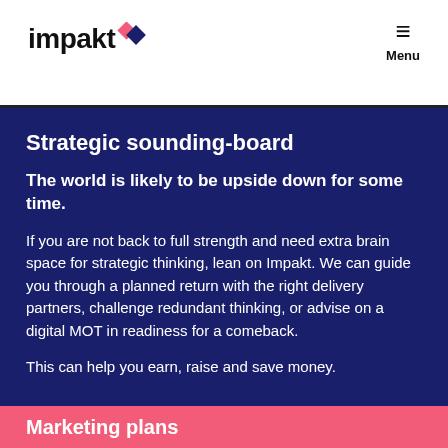[Figure (logo): Impakt logo with diamond shape in pink and dark blue colors, and a hamburger menu icon with 'Menu' label on the right]
Strategic sounding-board
The world is likely to be upside down for some time.
If you are not back to full strength and need extra brain space for strategic thinking, lean on Impakt. We can guide you through a planned return with the right delivery partners, challenge redundant thinking, or advise on a digital MOT in readiness for a comeback.
This can help you earn, raise and save money.
Marketing plans